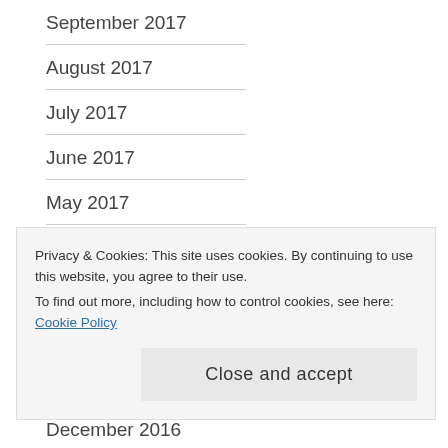September 2017
August 2017
July 2017
June 2017
May 2017
April 2017
March 2017
February 2017
January 2017
December 2016
Privacy & Cookies: This site uses cookies. By continuing to use this website, you agree to their use.
To find out more, including how to control cookies, see here: Cookie Policy
Close and accept